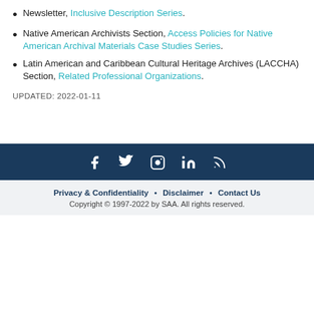Newsletter, Inclusive Description Series.
Native American Archivists Section, Access Policies for Native American Archival Materials Case Studies Series.
Latin American and Caribbean Cultural Heritage Archives (LACCHA) Section, Related Professional Organizations.
UPDATED: 2022-01-11
[Figure (infographic): Dark blue footer bar with five social media icons: Facebook, Twitter, Instagram, LinkedIn, RSS feed — all white on dark navy background.]
Privacy & Confidentiality • Disclaimer • Contact Us
Copyright © 1997-2022 by SAA. All rights reserved.